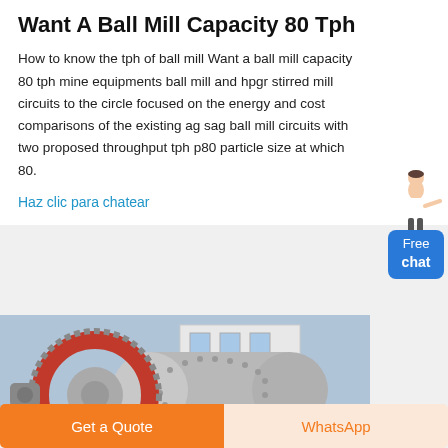Want A Ball Mill Capacity 80 Tph
How to know the tph of ball mill Want a ball mill capacity 80 tph mine equipments ball mill and hpgr stirred mill circuits to the circle focused on the energy and cost comparisons of the existing ag sag ball mill circuits with two proposed throughput tph p80 particle size at which 80.
Haz clic para chatear
[Figure (photo): Photograph of a large industrial ball mill machine with prominent gear/ring drive mechanism, grey cylindrical drum, red gear ring, set outdoors near a building.]
Get a Quote
WhatsApp